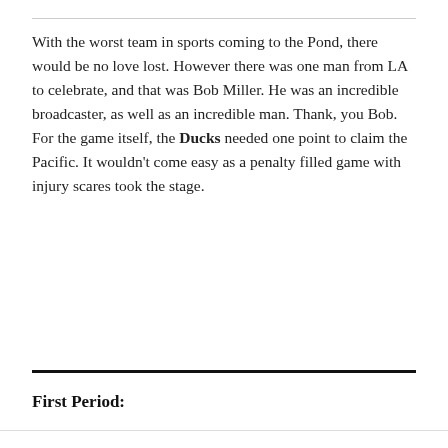With the worst team in sports coming to the Pond, there would be no love lost. However there was one man from LA to celebrate, and that was Bob Miller. He was an incredible broadcaster, as well as an incredible man. Thank, you Bob. For the game itself, the Ducks needed one point to claim the Pacific. It wouldn't come easy as a penalty filled game with injury scares took the stage.
First Period:
[logo] [twitter] [facebook]